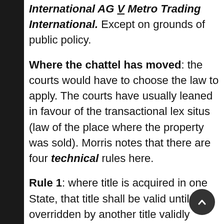International AG V Metro Trading International. Except on grounds of public policy.
Where the chattel has moved: the courts would have to choose the law to apply. The courts have usually leaned in favour of the transactional lex situs (law of the place where the property was sold). Morris notes that there are four technical rules here.
Rule 1: where title is acquired in one State, that title shall be valid until overridden by another title validly acquired under the law of another State.